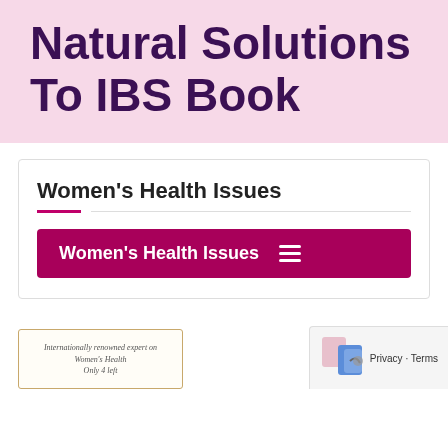Natural Solutions To IBS Book
Women's Health Issues
Women's Health Issues
Internationally renowned expert on Women's Health Only 4 left
Privacy · Terms